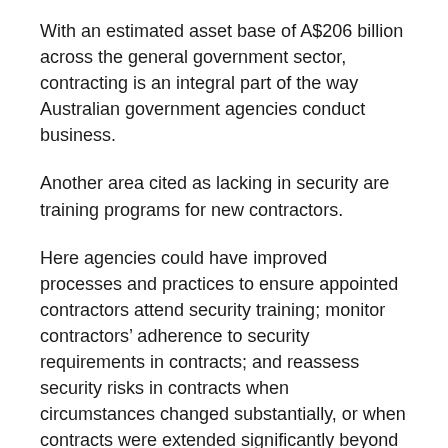With an estimated asset base of A$206 billion across the general government sector, contracting is an integral part of the way Australian government agencies conduct business.
Another area cited as lacking in security are training programs for new contractors.
Here agencies could have improved processes and practices to ensure appointed contractors attend security training; monitor contractors’ adherence to security requirements in contracts; and reassess security risks in contracts when circumstances changed substantially, or when contracts were extended significantly beyond their original life.
Without naming names, the report identified